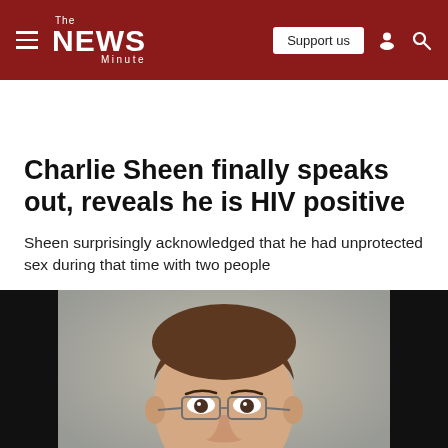The NEWS Minute — Support us
Charlie Sheen finally speaks out, reveals he is HIV positive
Sheen surprisingly acknowledged that he had unprotected sex during that time with two people
[Figure (photo): Photo of Charlie Sheen, a man with brown hair wearing glasses, shown from shoulders up against a blurred background]